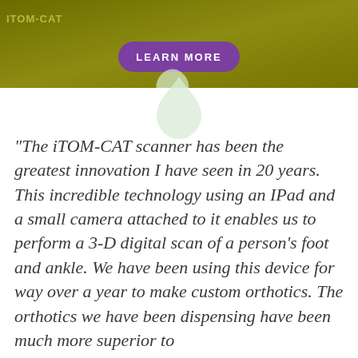[Figure (screenshot): Olive/khaki colored banner header with partial text visible top-left and a purple 'LEARN MORE' pill button centered, with a light green teardrop/droplet shape below the banner]
"The iTOM-CAT scanner has been the greatest innovation I have seen in 20 years. This incredible technology using an IPad and a small camera attached to it enables us to perform a 3-D digital scan of a person's foot and ankle. We have been using this device for way over a year to make custom orthotics. The orthotics we have been dispensing have been much more superior to